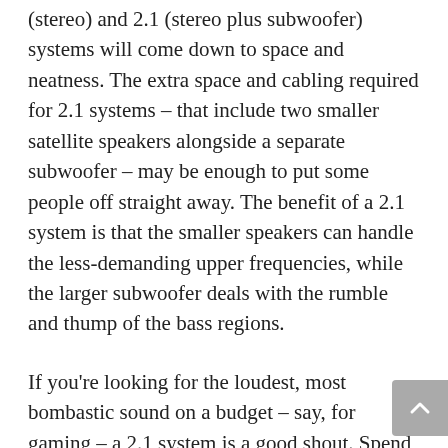(stereo) and 2.1 (stereo plus subwoofer) systems will come down to space and neatness. The extra space and cabling required for 2.1 systems – that include two smaller satellite speakers alongside a separate subwoofer – may be enough to put some people off straight away. The benefit of a 2.1 system is that the smaller speakers can handle the less-demanding upper frequencies, while the larger subwoofer deals with the rumble and thump of the bass regions.
If you're looking for the loudest, most bombastic sound on a budget – say, for gaming – a 2.1 system is a good shout. Spend similar money on a good 2.0 system, however, and you'll generally get a better quality of sound, with more clarity and detail, and tighter, less exaggerated bass. It's also worth remembering that some 2.0